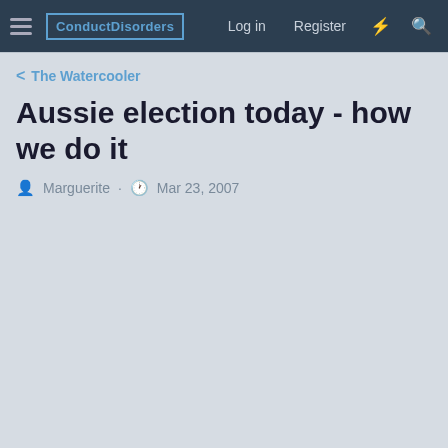ConductDisorders | Log in | Register
The Watercooler
Aussie election today - how we do it
Marguerite · Mar 23, 2007